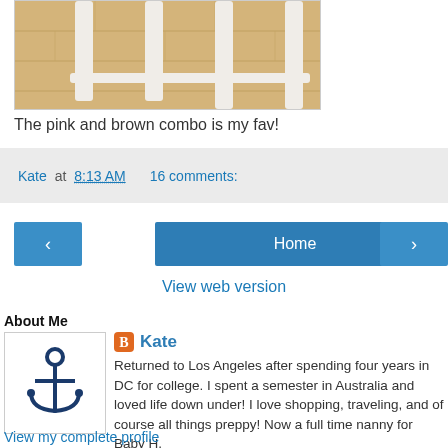[Figure (photo): Partial photo of white chair legs on light wood flooring]
The pink and brown combo is my fav!
Kate at 8:13 AM    16 comments:
< Home >
View web version
About Me
[Figure (illustration): Dark blue anchor icon]
Kate
Returned to Los Angeles after spending four years in DC for college. I spent a semester in Australia and loved life down under! I love shopping, traveling, and of course all things preppy! Now a full time nanny for Baby H.
View my complete profile